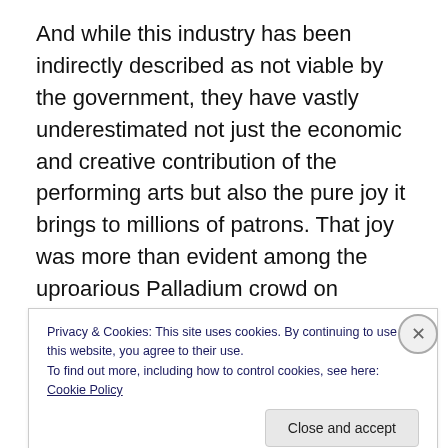And while this industry has been indirectly described as not viable by the government, they have vastly underestimated not just the economic and creative contribution of the performing arts but also the pure joy it brings to millions of patrons. That joy was more than evident among the uproarious Palladium crowd on Sunday afternoon as an extended ovation of applause and whooping followed a (presumably) pre-recorded announcement that the show was due to start. The
Privacy & Cookies: This site uses cookies. By continuing to use this website, you agree to their use.
To find out more, including how to control cookies, see here: Cookie Policy